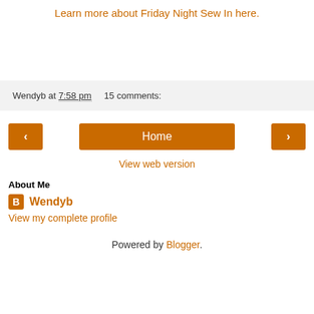Learn more about Friday Night Sew In here.
Wendyb at 7:58 pm   15 comments:
‹  Home  ›
View web version
About Me
Wendyb
View my complete profile
Powered by Blogger.